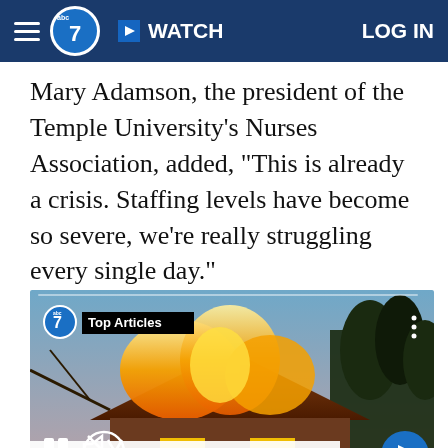ABC7 | WATCH | LOG IN
Mary Adamson, the president of the Temple University's Nurses Association, added, "This is already a crisis. Staffing levels have become so severe, we're really struggling every single day."
[Figure (screenshot): Video player showing a house fire with flames visible through windows and roof. Overlay shows ABC7 logo with 'Top Articles' badge. Pause button and mute button visible at bottom left. Blue circular next arrow button at bottom right. Caption bar reads: Fire hits vacant Grossinger's hotel, once a Catskills jewel that became 'Dirty D']
Fire hits vacant Grossinger's hotel, once a Catskills jewel that became 'Dirty D